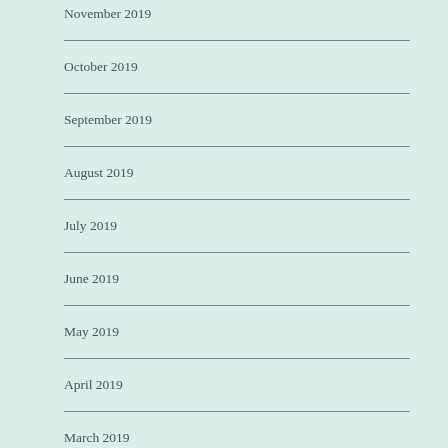November 2019
October 2019
September 2019
August 2019
July 2019
June 2019
May 2019
April 2019
March 2019
BLOGS I FOLLOW